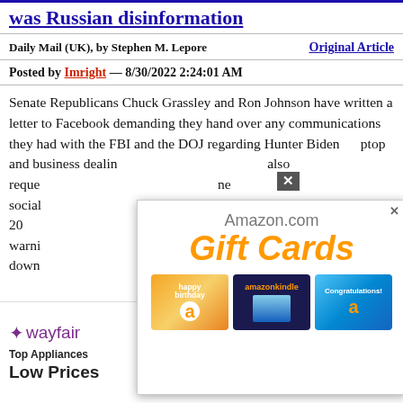was Russian disinformation
Daily Mail (UK), by Stephen M. Lepore    Original Article
Posted by Imright — 8/30/2022 2:24:01 AM
Senate Republicans Chuck Grassley and Ron Johnson have written a letter to Facebook demanding they hand over any communications they had with the FBI and the DOJ regarding Hunter Biden laptop and business dealings also requested the social media of the 2020 warning about shut down Post.
[Figure (screenshot): Amazon.com Gift Cards advertisement overlay showing gift card images including happy birthday, amazonkindle, and Congratulations cards]
[Figure (screenshot): Wayfair advertisement for Top Appliances with Low Prices and Shop now button]